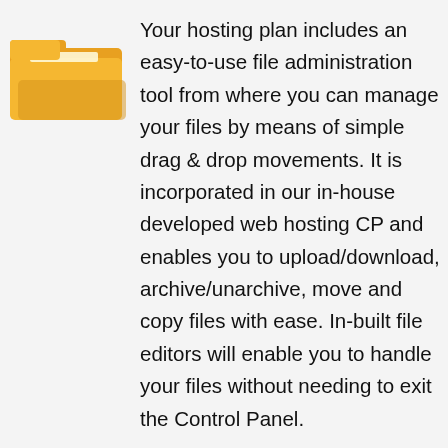[Figure (illustration): Yellow folder icon representing file management]
Your hosting plan includes an easy-to-use file administration tool from where you can manage your files by means of simple drag & drop movements. It is incorporated in our in-house developed web hosting CP and enables you to upload/download, archive/unarchive, move and copy files with ease. In-built file editors will enable you to handle your files without needing to exit the Control Panel.
A quick site installer
[Figure (illustration): Stopwatch with cursor hand icon representing quick site installation]
With your package, you will get a site installation tool, which will help you publish your web site to the World Wide Web with three clicks of the mouse. Just choose your web site template and